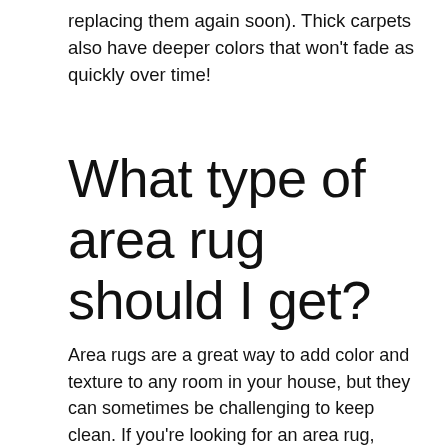replacing them again soon). Thick carpets also have deeper colors that won't fade as quickly over time!
What type of area rug should I get?
Area rugs are a great way to add color and texture to any room in your house, but they can sometimes be challenging to keep clean. If you're looking for an area rug, consider one made out of natural fibers like wool or cotton—these